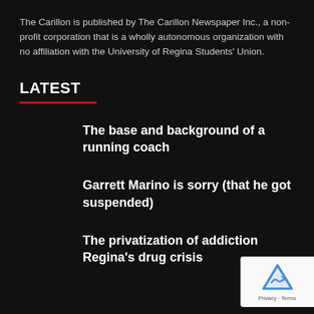The Carillon is published by The Carillon Newspaper Inc., a non-profit corporation that is a wholly autonomous organization with no affiliation with the University of Regina Students' Union.
LATEST
The base and background of a running coach
Garrett Marino is sorry (that he got suspended)
The privatization of addiction Regina's drug crisis